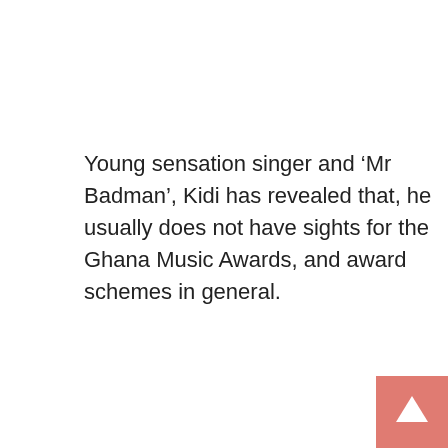Young sensation singer and ‘Mr Badman’, Kidi has revealed that, he usually does not have sights for the Ghana Music Awards, and award schemes in general.
[Figure (other): Pink/salmon square button with a white upward arrow icon in the bottom-right corner of the page.]